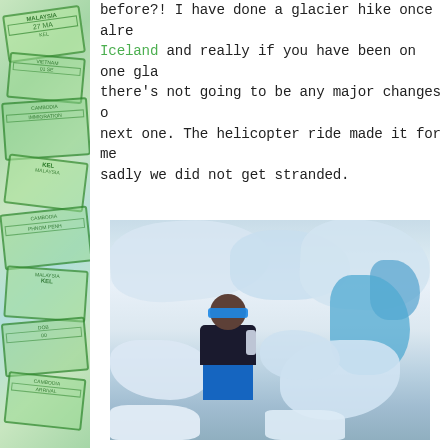before?! I have done a glacier hike once already in Iceland and really if you have been on one glacier there's not going to be any major changes on the next one. The helicopter ride made it for me, sadly we did not get stranded.
[Figure (photo): A person wearing sunglasses and a blue jacket drinking from a water bottle while standing on a glacier surrounded by white ice and blue glacial water.]